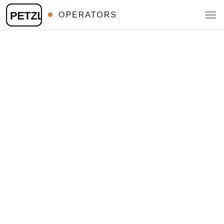PETZL • OPERATORS
[Figure (logo): Petzl logo with text OPERATORS and navigation hamburger menu icon on the right]